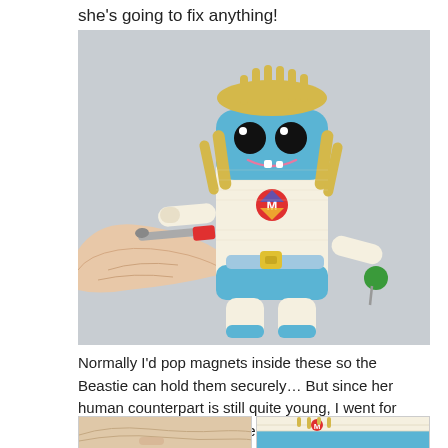she's going to fix anything!
[Figure (photo): A knitted blue and cream monster toy (Beastie) with yellow yarn hair, googly eyes, a smiling mouth with teeth, holding tools including a wrench and screwdriver, with a superhero 'M' badge and yellow tool belt buckle. A human hand is holding out a small red and white tool toward the toy.]
Normally I'd pop magnets inside these so the Beastie can hold them securely… But since her human counterpart is still quite young, I went for elastic loops on the handles instead, just to be on the safe side.
[Figure (photo): Two partial photos side by side at the bottom: left shows a close-up of a human hand, right shows a close-up of the knitted blue Beastie toy's torso area.]